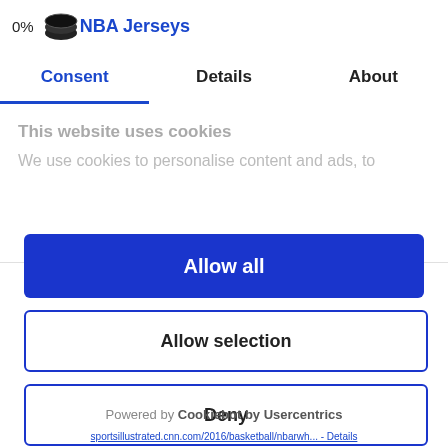0% NBA Jerseys
[Figure (logo): Cookie/Cookiebot logo icon — dark oval shape with layered coin design]
Consent | Details | About
This website uses cookies
We use cookies to personalise content and ads, to
Allow all
Allow selection
Deny
Powered by Cookiebot by Usercentrics
sportsillustrated.cnn.com/2016/basketball/nbarwh... - Details